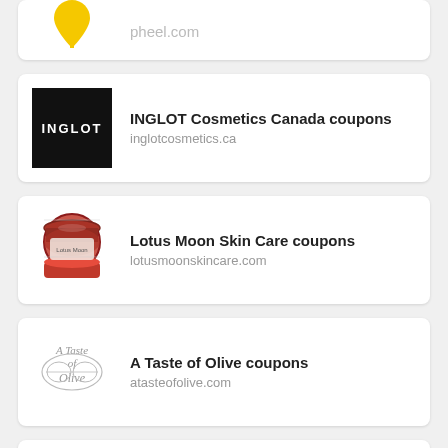[Figure (logo): Partial view of a yellow teardrop/pin drop logo above 'pheel.com' text]
pheel.com
[Figure (logo): INGLOT black square logo with white text 'INGLOT']
INGLOT Cosmetics Canada coupons
inglotcosmetics.ca
[Figure (photo): A small round jar of Lotus Moon Skin Care product]
Lotus Moon Skin Care coupons
lotusmoonskincare.com
[Figure (logo): A Taste of Olive decorative logo in grey italic script]
A Taste of Olive coupons
atasteofolive.com
[Figure (photo): Partial photo showing Fair & White product packaging with sky background]
Fair & White coupons